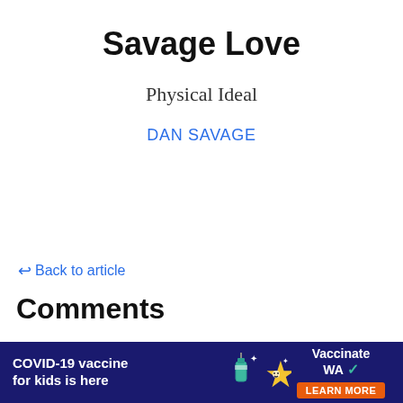Savage Love
Physical Ideal
DAN SAVAGE
↩ Back to article
Comments
Last LW: what are the friends actually saying? What you hear more of is the fear that
1
[Figure (other): COVID-19 vaccine for kids is here advertisement banner with Vaccinate WA logo and Learn More button]